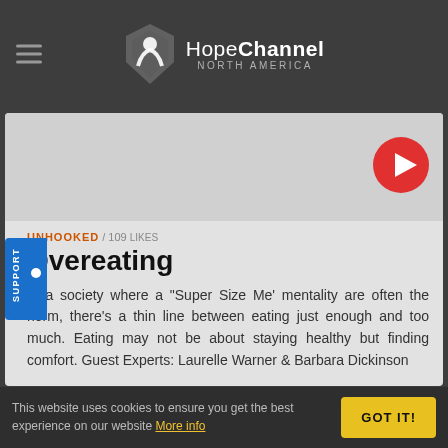HopeChannel NORTH AMERICA
[Figure (screenshot): Video thumbnail placeholder - grey area with red play button]
UNHOOKED / 109 LIKES
Overeating
In a society where a "Super Size Me' mentality are often the norm, there's a thin line between eating just enough and too much. Eating may not be about staying healthy but finding comfort. Guest Experts: Laurelle Warner & Barbara Dickinson
[Figure (screenshot): Second video thumbnail placeholder - grey area]
This website uses cookies to ensure you get the best experience on our website More info